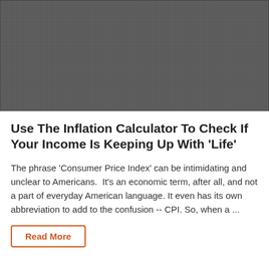[Figure (photo): Dark gray textured background image, likely a decorative header image for an article about inflation or finance.]
Use The Inflation Calculator To Check If Your Income Is Keeping Up With 'Life'
The phrase 'Consumer Price Index' can be intimidating and unclear to Americans.  It's an economic term, after all, and not a part of everyday American language. It even has its own abbreviation to add to the confusion -- CPI. So, when a ...
Read More